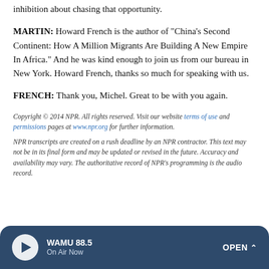inhibition about chasing that opportunity.
MARTIN: Howard French is the author of "China's Second Continent: How A Million Migrants Are Building A New Empire In Africa." And he was kind enough to join us from our bureau in New York. Howard French, thanks so much for speaking with us.
FRENCH: Thank you, Michel. Great to be with you again.
Copyright © 2014 NPR. All rights reserved. Visit our website terms of use and permissions pages at www.npr.org for further information.
NPR transcripts are created on a rush deadline by an NPR contractor. This text may not be in its final form and may be updated or revised in the future. Accuracy and availability may vary. The authoritative record of NPR's programming is the audio record.
WAMU 88.5 On Air Now OPEN